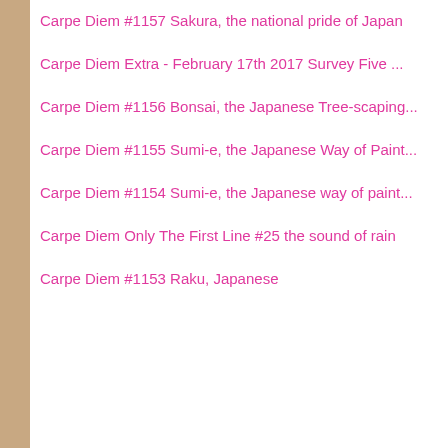Carpe Diem #1157 Sakura, the national pride of Japan
Carpe Diem Extra - February 17th 2017 Survey Five ...
Carpe Diem #1156 Bonsai, the Japanese Tree-scaping...
Carpe Diem #1155 Sumi-e, the Japanese Way of Paint...
Carpe Diem #1154 Sumi-e, the Japanese way of paint...
Carpe Diem Only The First Line #25 the sound of rain
Carpe Diem #1153 Raku, Japanese
(Cannot add links: Registrati...
By Chévrefeuille - Feb...
Labels: Carpe Diem, Pilgrimage, spirituality
Location: Netherlands
1 comment:
Janice  Febru... another great
Reply
Enter Com...
Newer Post